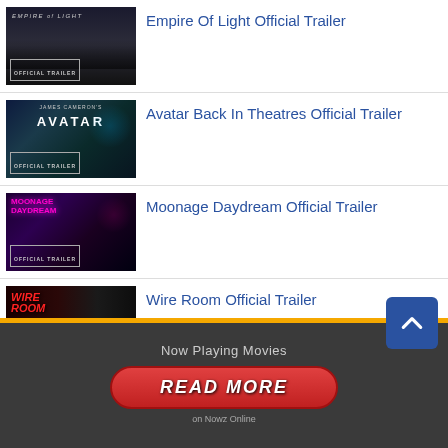Empire Of Light Official Trailer
Avatar Back In Theatres Official Trailer
Moonage Daydream Official Trailer
Wire Room Official Trailer
Now Playing Movies
READ MORE
on Nowz Online